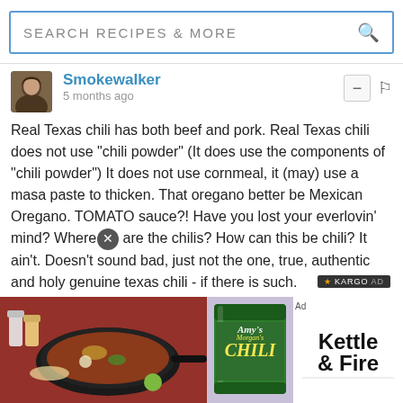SEARCH RECIPES & MORE
Smokewalker
5 months ago
Real Texas chili has both beef and pork. Real Texas chili does not use "chili powder" (It does use the components of "chili powder") It does not use cornmeal, it (may) use a masa paste to thicken. That oregano better be Mexican Oregano. TOMATO sauce?! Have you lost your everlovin' mind? Where are the chilis? How can this be chili? It ain't. Doesn't sound bad, just not the one, true, authentic and holy genuine texas chili - if there is such.
Subscribe  Do Not Sell My Data
[Figure (photo): Cast iron pan with chili dish on red background]
[Figure (photo): Amy's Morgan's Chili can next to Kettle & Fire product box]